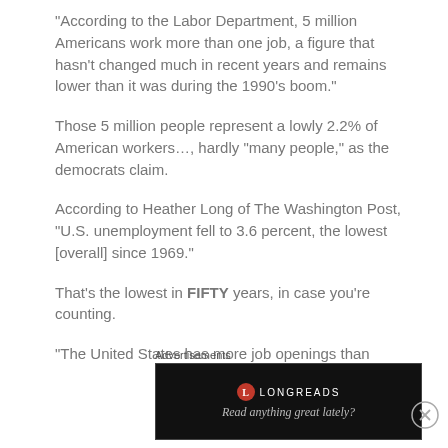“According to the Labor Department, 5 million Americans work more than one job, a figure that hasn’t changed much in recent years and remains lower than it was during the 1990’s boom.”
Those 5 million people represent a lowly 2.2% of American workers…, hardly “many people,” as the democrats claim.
According to Heather Long of The Washington Post, “U.S. unemployment fell to 3.6 percent, the lowest [overall] since 1969.”
That’s the lowest in FIFTY years, in case you’re counting.
“The United States has more job openings than
Advertisements
[Figure (other): Longreads advertisement banner with logo and tagline 'Read anything great lately?']